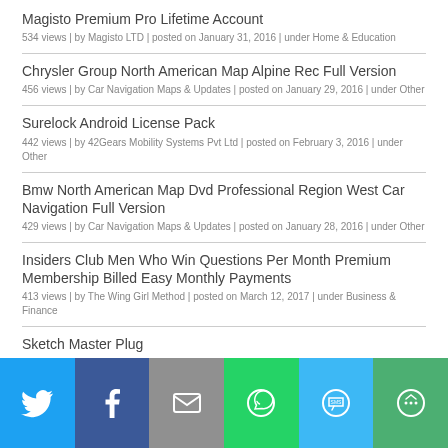Magisto Premium Pro Lifetime Account
534 views | by Magisto LTD | posted on January 31, 2016 | under Home & Education
Chrysler Group North American Map Alpine Rec Full Version
456 views | by Car Navigation Maps & Updates | posted on January 29, 2016 | under Other
Surelock Android License Pack
442 views | by 42Gears Mobility Systems Pvt Ltd | posted on February 3, 2016 | under Other
Bmw North American Map Dvd Professional Region West Car Navigation Full Version
429 views | by Car Navigation Maps & Updates | posted on January 28, 2016 | under Other
Insiders Club Men Who Win Questions Per Month Premium Membership Billed Easy Monthly Payments
413 views | by The Wing Girl Method | posted on March 12, 2017 | under Business & Finance
Sketch Master Plug
402 views | by Redfield Plugins | posted on February 3, 2016 | under Audio & Video